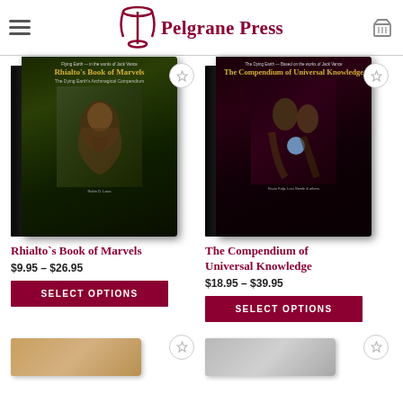Pelgrane Press
[Figure (photo): Book cover: Rhialto's Book of Marvels - dark green fantasy cover with bearded man portrait]
Rhialto`s Book of Marvels
$9.95 – $26.95
SELECT OPTIONS
[Figure (photo): Book cover: The Compendium of Universal Knowledge - dark fantasy cover with robed figures and magical orb]
The Compendium of Universal Knowledge
$18.95 – $39.95
SELECT OPTIONS